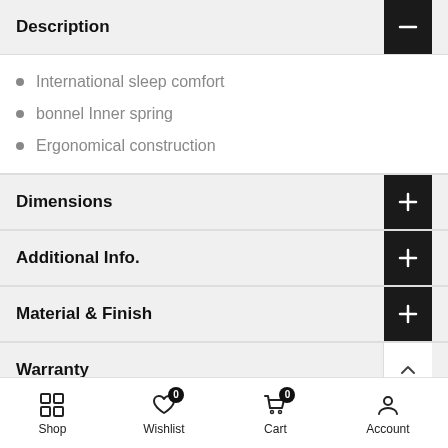Description
International sleep comfort
bonnel Inner spring
Ergonomical construction
Dimensions
Additional Info.
Material & Finish
Warranty
Shop  Wishlist 0  Cart 0  Account